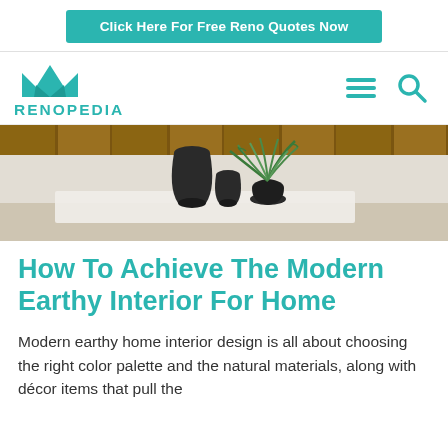Click Here For Free Reno Quotes Now
[Figure (logo): Renopedia logo with teal crown icon and text RENOPEDIA, plus hamburger menu and search icons]
[Figure (photo): Interior design photo showing dark ceramic vases and a green plant on a white marble rug, with wooden wall panels in the background]
How To Achieve The Modern Earthy Interior For Home
Modern earthy home interior design is all about choosing the right color palette and the natural materials, along with décor items that pull the